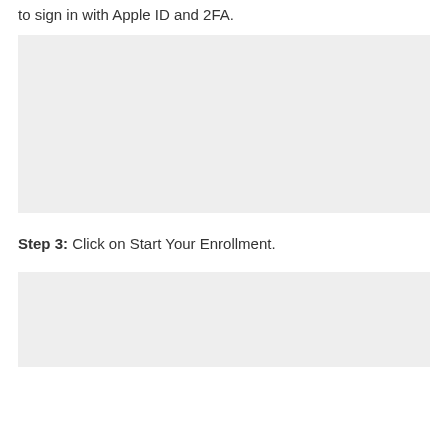to sign in with Apple ID and 2FA.
[Figure (screenshot): Screenshot of Apple ID and 2FA sign-in interface]
Step 3: Click on Start Your Enrollment.
[Figure (screenshot): Screenshot of Start Your Enrollment screen]